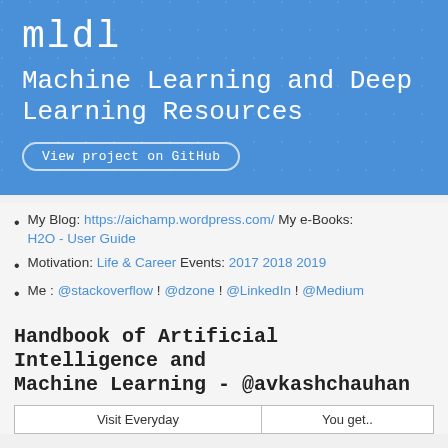[Figure (other): Blue banner header with grid dot pattern, logo 'mldl' in monospace white font, subtitle 'Machine Learning and Deep Learning Resources', and a 'View project on GitHub' button with rounded border.]
My Blog: https://aichamp.wordpress.com/ My e-Books: H2O - User Guide
Motivation: Life & Career Events: 2017 2018 2019
Me : @stackoverflow ! @dzone ! @LinkedIn ! @Medium
Handbook of Artificial Intelligence and Machine Learning - @avkashchauhan
| Visit Everyday | You get.. |
| --- | --- |